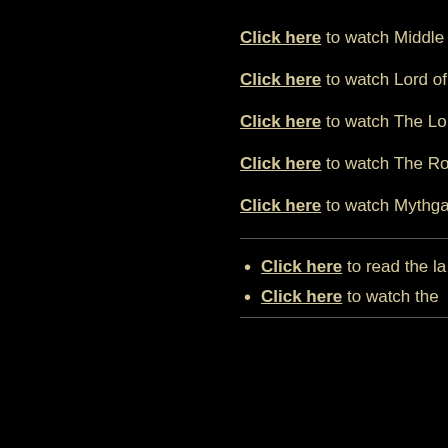Click here to watch Middle
Click here to watch Lord of
Click here to watch The Lo
Click here to watch The Ro
Click here to watch Mythga
Click here to read the la
Click here to watch the